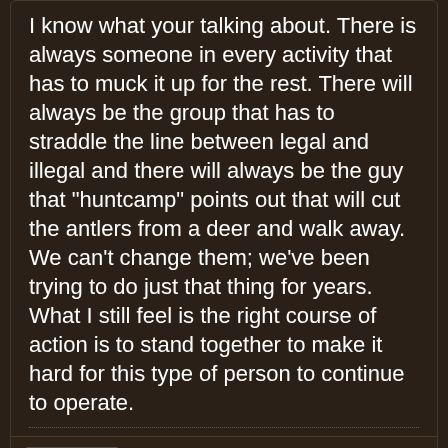I know what your talking about. There is always someone in every activity that has to muck it up for the rest. There will always be the group that has to straddle the line between legal and illegal and there will always be the guy that "huntcamp" points out that will cut the antlers from a deer and walk away. We can't change them; we've been trying to do just that thing for years. What I still feel is the right course of action is to stand together to make it hard for this type of person to continue to operate.
idahooutdoors
□□□□
Join Date: Feb 2009   Posts: 712
06-08-2009, 07:27 PM   #24
Some such as coyote for predator control, some